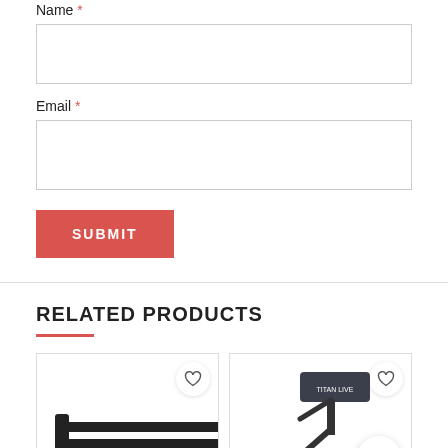Name *
Email *
SUBMIT
RELATED PRODUCTS
[Figure (photo): Product card showing wall-mounted pull-up bar with wishlist heart icon]
[Figure (photo): Product card showing adjustable workout bench (Titan brand) with wishlist heart icon and back-to-top arrow button]